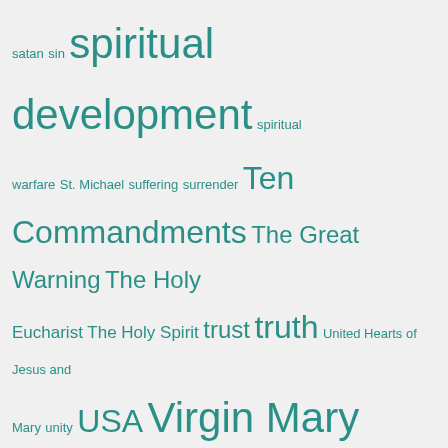satan sin spiritual development spiritual warfare St. Michael suffering surrender Ten Commandments The Great Warning The Holy Eucharist The Holy Spirit trust truth United Hearts of Jesus and Mary unity USA Virgin Mary visionaries war
REASONS TO CHOOSE LIFE IN THE WOMB! BE PRO-LIFE! CLICK THE IMAGE BELOW!
[Figure (photo): An artistic illustration of a human fetus in the womb, rendered in realistic style against a dark background, showing the fetus curled in a fetal position with visible hands.]